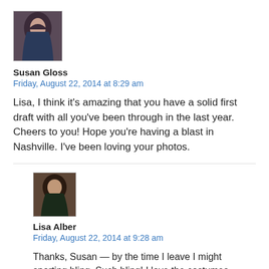[Figure (photo): Profile photo of Susan Gloss, a woman with dark hair]
Susan Gloss
Friday, August 22, 2014 at 8:29 am
Lisa, I think it's amazing that you have a solid first draft with all you've been through in the last year. Cheers to you! Hope you're having a blast in Nashville. I've been loving your photos.
[Figure (photo): Profile photo of Lisa Alber, a person in low-light setting]
Lisa Alber
Friday, August 22, 2014 at 9:28 am
Thanks, Susan — by the time I leave I might sporting bling. Such bling! I love the costumes.